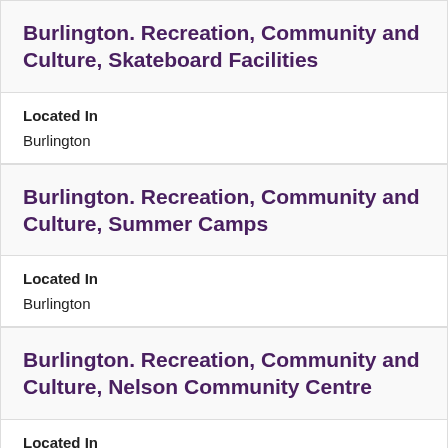Burlington. Recreation, Community and Culture, Skateboard Facilities
Located In
Burlington
Burlington. Recreation, Community and Culture, Summer Camps
Located In
Burlington
Burlington. Recreation, Community and Culture, Nelson Community Centre
Located In
Burlington
Burlington. Recreation, Community and